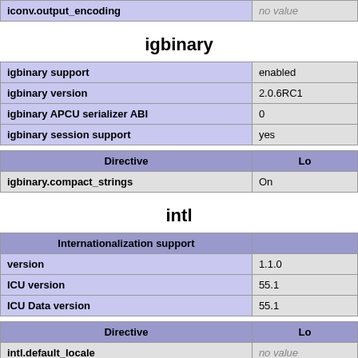| iconv.output_encoding | no value |
| --- | --- |
igbinary
| igbinary support | enabled |
| igbinary version | 2.0.6RC1 |
| igbinary APCU serializer ABI | 0 |
| igbinary session support | yes |
| Directive | Lo |
| --- | --- |
| igbinary.compact_strings | On |
intl
| Internationalization support |  |
| --- | --- |
| version | 1.1.0 |
| ICU version | 55.1 |
| ICU Data version | 55.1 |
| Directive | Lo |
| --- | --- |
| intl.default_locale | no value |
| intl.error_level | 0 |